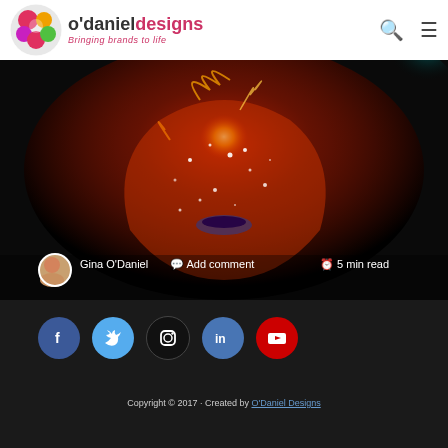O'Daniel Designs – Bringing brands to life
[Figure (photo): Dark hero image of a colorful artistic face with red and orange tones, light speckles on black background]
Gina O'Daniel  · Add comment  · 5 min read
[Figure (infographic): Dark footer with social media icons: Facebook, Twitter, Instagram, LinkedIn, YouTube]
Copyright © 2017 · Created by O'Daniel Designs